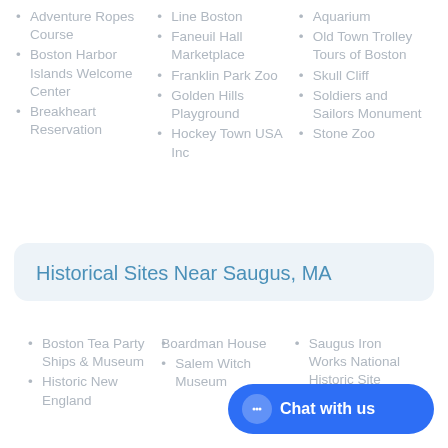Adventure Ropes Course
Boston Harbor Islands Welcome Center
Breakheart Reservation
Line Boston
Faneuil Hall Marketplace
Franklin Park Zoo
Golden Hills Playground
Hockey Town USA Inc
Aquarium
Old Town Trolley Tours of Boston
Skull Cliff
Soldiers and Sailors Monument
Stone Zoo
Historical Sites Near Saugus, MA
Boston Tea Party Ships & Museum
Historic New England
Boardman House
Salem Witch Museum
Saugus Iron Works National Historic Site